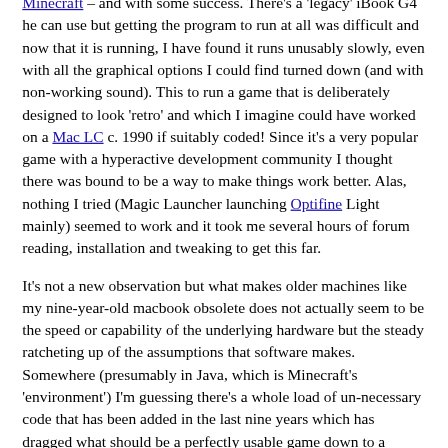Minecraft – and with some success. There's a 'legacy' iBook G4 he can use but getting the program to run at all was difficult and now that it is running, I have found it runs unusably slowly, even with all the graphical options I could find turned down (and with non-working sound). This to run a game that is deliberately designed to look 'retro' and which I imagine could have worked on a Mac LC c. 1990 if suitably coded! Since it's a very popular game with a hyperactive development community I thought there was bound to be a way to make things work better. Alas, nothing I tried (Magic Launcher launching Optifine Light mainly) seemed to work and it took me several hours of forum reading, installation and tweaking to get this far.
It's not a new observation but what makes older machines like my nine-year-old macbook obsolete does not actually seem to be the speed or capability of the underlying hardware but the steady ratcheting up of the assumptions that software makes. Somewhere (presumably in Java, which is Minecraft's 'environment') I'm guessing there's a whole load of un-necessary code that has been added in the last nine years which has dragged what should be a perfectly usable game down to a useless speed.
Just to drag this back to academic relevance for a moment, this is to my mind a good example of